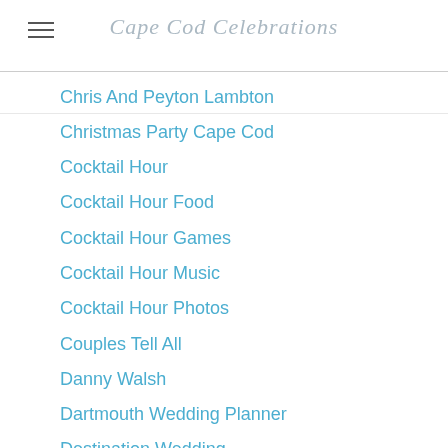Cape Cod Celebrations
Chris And Peyton Lambton
Christmas Party Cape Cod
Cocktail Hour
Cocktail Hour Food
Cocktail Hour Games
Cocktail Hour Music
Cocktail Hour Photos
Couples Tell All
Danny Walsh
Dartmouth Wedding Planner
Destination Wedding
DIY Wedding
Dulce Press
Eco-friendly Cape Cod Wedding
Eco-friendly Wedding
Eco-friendly Wedding Ideas
Eloping On Cape Cod
Every Last Detail Blog